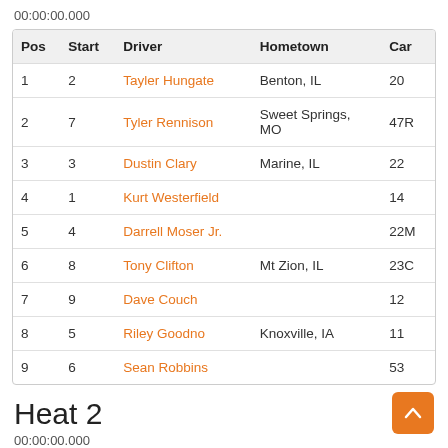00:00:00.000
| Pos | Start | Driver | Hometown | Car |
| --- | --- | --- | --- | --- |
| 1 | 2 | Tayler Hungate | Benton, IL | 20 |
| 2 | 7 | Tyler Rennison | Sweet Springs, MO | 47R |
| 3 | 3 | Dustin Clary | Marine, IL | 22 |
| 4 | 1 | Kurt Westerfield |  | 14 |
| 5 | 4 | Darrell Moser Jr. |  | 22M |
| 6 | 8 | Tony Clifton | Mt Zion, IL | 23C |
| 7 | 9 | Dave Couch |  | 12 |
| 8 | 5 | Riley Goodno | Knoxville, IA | 11 |
| 9 | 6 | Sean Robbins |  | 53 |
Heat 2
00:00:00.000